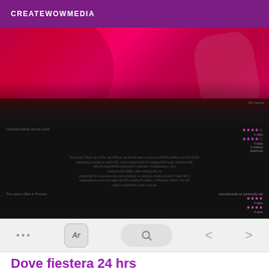CREATEWOWMEDIA
[Figure (photo): Red/pink fabric or clothing photo, cropped]
[Figure (screenshot): Dark-themed mobile app screenshot showing review/rating content with blurred text and star ratings]
[Figure (screenshot): Mobile browser navigation bar with dots menu, Ar button, search pill, back and forward arrows]
Dove fiestera 24 hrs